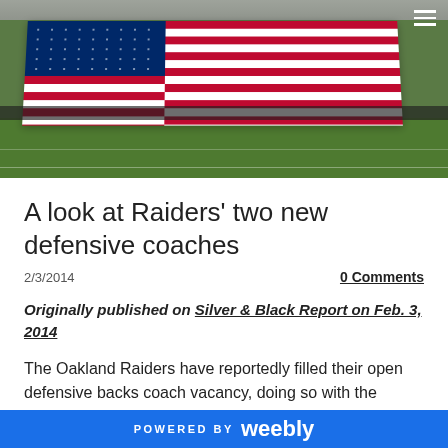[Figure (photo): Aerial/field-level view of a large American flag being held out on a football field during what appears to be a pregame ceremony, with players and staff along the sidelines, stands visible in background.]
A look at Raiders’ two new defensive coaches
2/3/2014
0 Comments
Originally published on Silver & Black Report on Feb. 3, 2014
The Oakland Raiders have reportedly filled their open defensive backs coach vacancy, doing so with the
POWERED BY weebly